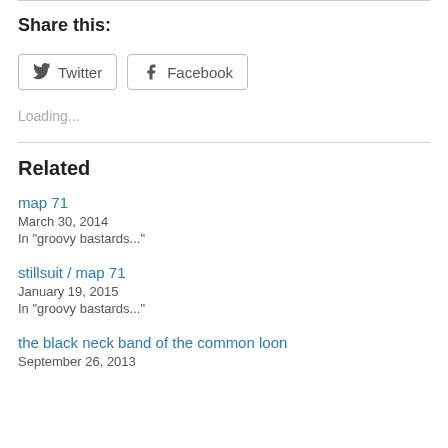Share this:
Twitter  Facebook
Loading...
Related
map 71
March 30, 2014
In "groovy bastards..."
stillsuit / map 71
January 19, 2015
In "groovy bastards..."
the black neck band of the common loon
September 26, 2013